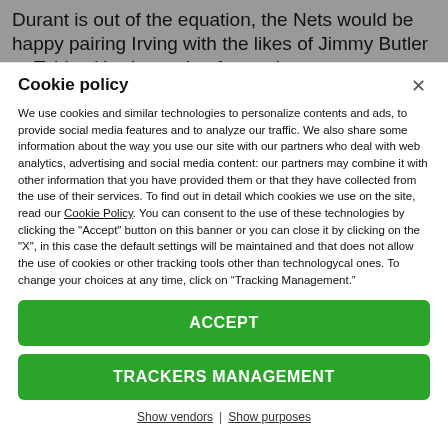Durant is out of the equation, the Nets would be happy pairing Irving with the likes of Jimmy Butler or Tobias Harris moving forward.
Cookie policy
We use cookies and similar technologies to personalize contents and ads, to provide social media features and to analyze our traffic. We also share some information about the way you use our site with our partners who deal with web analytics, advertising and social media content: our partners may combine it with other information that you have provided them or that they have collected from the use of their services. To find out in detail which cookies we use on the site, read our Cookie Policy. You can consent to the use of these technologies by clicking the "Accept" button on this banner or you can close it by clicking on the "X", in this case the default settings will be maintained and that does not allow the use of cookies or other tracking tools other than technologycal ones. To change your choices at any time, click on “Tracking Management.”
ACCEPT
TRACKERS MANAGEMENT
Show vendors | Show purposes